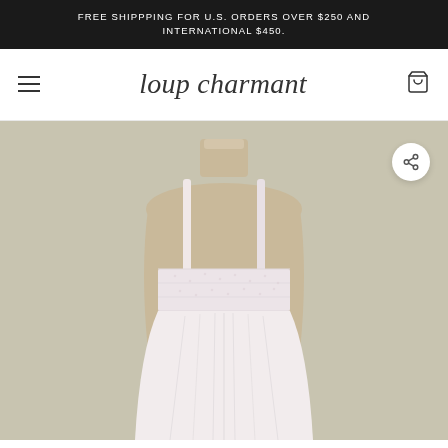FREE SHIPPPING FOR U.S. ORDERS OVER $250 AND INTERNATIONAL $450.
[Figure (logo): Loup Charmant brand logo in cursive/script font]
[Figure (photo): A white/light pink sleeveless dress with empire waist and spaghetti straps displayed on a beige mannequin torso against a neutral khaki/olive background. The dress features a banded top bodice with subtle floral or dot pattern and flowing skirt.]